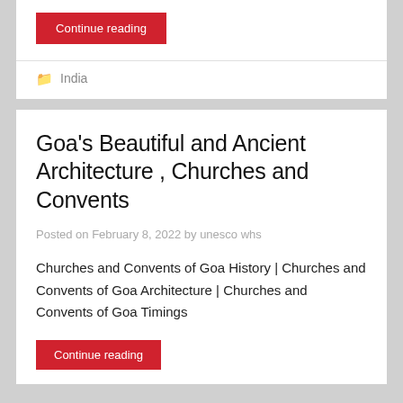Continue reading
India
Goa's Beautiful and Ancient Architecture , Churches and Convents
Posted on February 8, 2022 by unesco whs
Churches and Convents of Goa History | Churches and Convents of Goa Architecture | Churches and Convents of Goa Timings
Continue reading